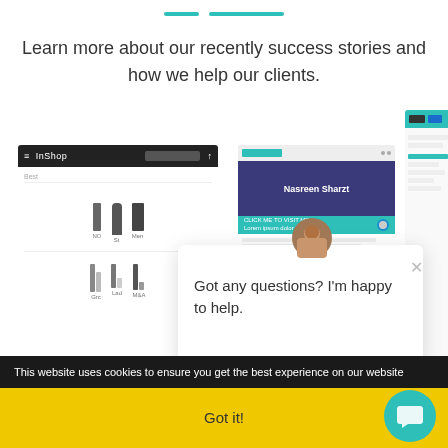[Figure (illustration): Two decorative teal horizontal lines (one short, one long) used as a section divider]
Learn more about our recently success stories and how we help our clients.
[Figure (screenshot): Mobile app screenshot showing a product listing grid with icons for various items]
[Figure (screenshot): Website screenshot showing a profile page with teal accents and a portrait photo]
[Figure (screenshot): Partial dashboard screenshot on the right edge]
[Figure (screenshot): Chat popup with avatar photo saying 'Got any questions? I'm happy to help.' with a close X button]
This website uses cookies to ensure you get the best experience on our website
Got it!